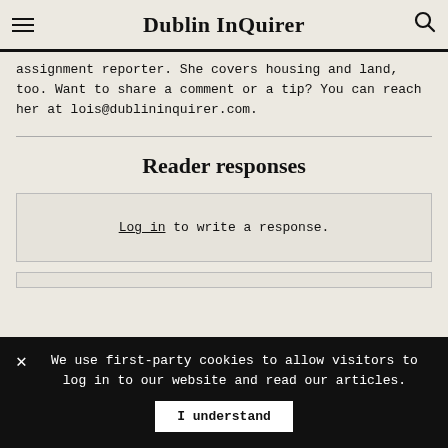Dublin InQuirer
assignment reporter. She covers housing and land, too. Want to share a comment or a tip? You can reach her at lois@dublininquirer.com.
Reader responses
Log in to write a response.
We use first-party cookies to allow visitors to log in to our website and read our articles.
I understand